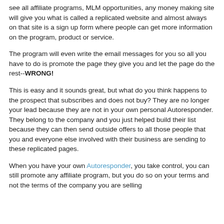see all affiliate programs, MLM opportunities, any money making site will give you what is called a replicated website and almost always on that site is a sign up form where people can get more information on the program, product or service.
The program will even write the email messages for you so all you have to do is promote the page they give you and let the page do the rest--WRONG!
This is easy and it sounds great, but what do you think happens to the prospect that subscribes and does not buy? They are no longer your lead because they are not in your own personal Autoresponder. They belong to the company and you just helped build their list because they can then send outside offers to all those people that you and everyone else involved with their business are sending to these replicated pages.
When you have your own Autoresponder, you take control, you can still promote any affiliate program, but you do so on your terms and not the terms of the company you are selling